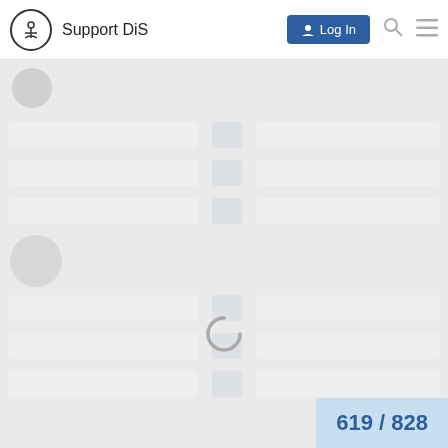Support DiS
[Figure (screenshot): Loading skeleton UI with placeholder rows and circles, a loading spinner, and a page counter badge showing 619 / 828]
619 / 828